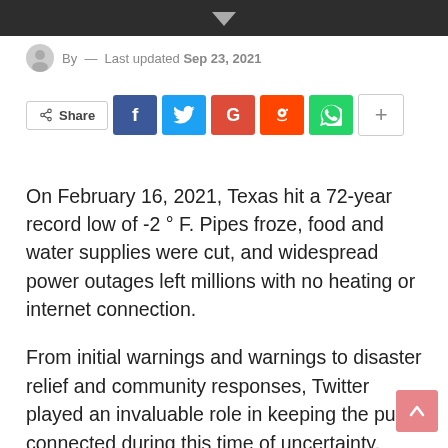By — Last updated Sep 23, 2021
[Figure (infographic): Social share buttons row: Share, Facebook, Twitter, Google+, Reddit, WhatsApp, More (+)]
On February 16, 2021, Texas hit a 72-year record low of -2 ° F. Pipes froze, food and water supplies were cut, and widespread power outages left millions with no heating or internet connection.
From initial warnings and warnings to disaster relief and community responses, Twitter played an invaluable role in keeping the public connected during this time of uncertainty. People from Texas and beyond turned to the platform to share resources, raise funds, and rally around the